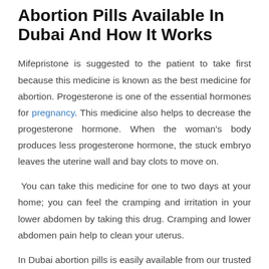Abortion Pills Available In Dubai And How It Works
Mifepristone is suggested to the patient to take first because this medicine is known as the best medicine for abortion. Progesterone is one of the essential hormones for pregnancy. This medicine also helps to decrease the progesterone hormone. When the woman's body produces less progesterone hormone, the stuck embryo leaves the uterine wall and bay clots to move on.
You can take this medicine for one to two days at your home; you can feel the cramping and irritation in your lower abdomen by taking this drug. Cramping and lower abdomen pain help to clean your uterus.
In Dubai abortion pills is easily available from our trusted clinics which is accessible from your location. For further